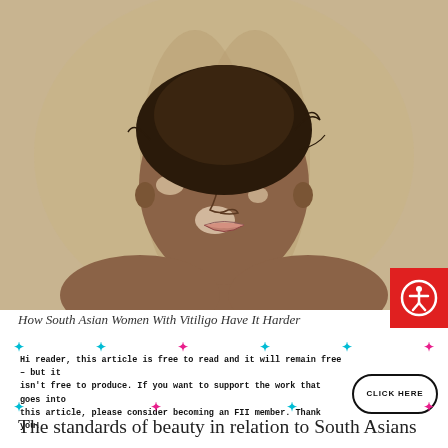[Figure (illustration): Digital illustration of a South Asian woman's face and shoulders, with vitiligo patches visible on her skin. She has dark hair pulled back and striking eyes. The background is a muted beige/tan cloudy shape.]
How South Asian Women With Vitiligo Have It Harder
Hi reader, this article is free to read and it will remain free – but it isn't free to produce. If you want to support the work that goes into this article, please consider becoming an FII member. Thank you!
The standards of beauty in relation to South Asians have perpetually been problematic, especially for women. An unhealthy obsession for lighter skin tones and a distaste for darker skin tones is ingrained in South Asian culture. One may ask, what is it like for someone like me, who cannot easily be categorised into one particular colour column? If we equate